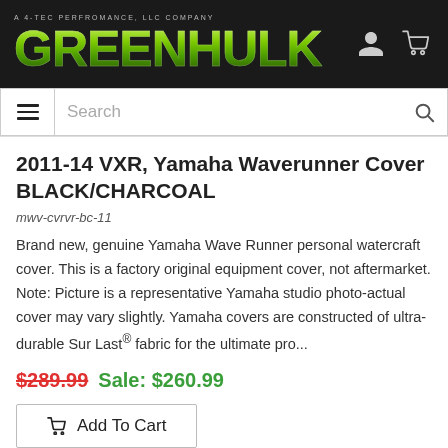[Figure (logo): GREENHULK logo in green gradient with tagline 'A 4-TEC PERFORMANCE, LLC COMPANY' on dark background with user and cart icons]
[Figure (screenshot): Search bar with hamburger menu icon on left and magnifying glass icon on right]
2011-14 VXR, Yamaha Waverunner Cover BLACK/CHARCOAL
mwv-cvrvr-bc-11
Brand new, genuine Yamaha Wave Runner personal watercraft cover. This is a factory original equipment cover, not aftermarket. Note: Picture is a representative Yamaha studio photo-actual cover may vary slightly. Yamaha covers are constructed of ultra-durable Sur Last® fabric for the ultimate pro...
$289.99   Sale: $260.99
Add To Cart